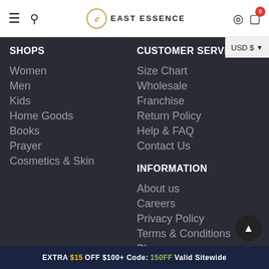East Essence — navigation bar with hamburger, search, logo, user, cart (0)
SHOPS
Women
Men
Kids
Home Goods
Books
Prayer
Cosmetics & Skin
CUSTOMER SERVICE
Size Chart
Wholesale
Franchise
Return Policy
Help & FAQ
Contact Us
INFORMATION
About us
Careers
Privacy Policy
Terms & Conditions
Blogs
EXTRA $15 OFF $100+ Code: 150FF Valid Sitewide